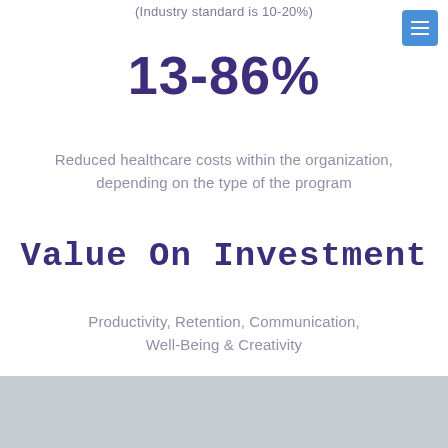(Industry standard is 10-20%)
13-86%
Reduced healthcare costs within the organization, depending on the type of the program
Value On Investment
Productivity, Retention, Communication, Well-Being & Creativity